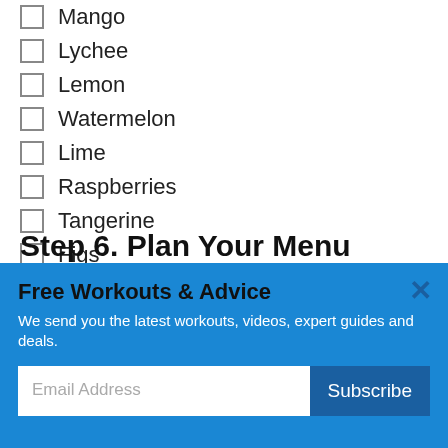Mango
Lychee
Lemon
Watermelon
Lime
Raspberries
Tangerine
Figs
Oranges
Step 6. Plan Your Menu
Free Workouts & Advice
We send you the latest workouts, videos, expert guides and deals.
Email Address
Subscribe